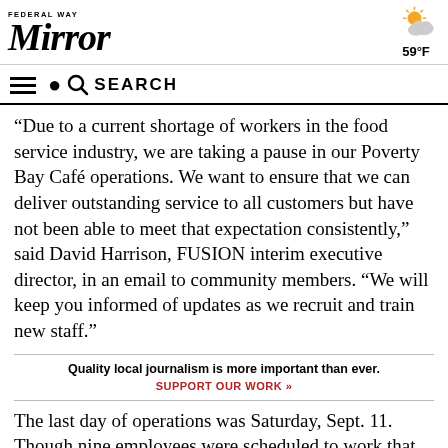Federal Way Mirror — 59°F
“Due to a current shortage of workers in the food service industry, we are taking a pause in our Poverty Bay Café operations. We want to ensure that we can deliver outstanding service to all customers but have not been able to meet that expectation consistently,” said David Harrison, FUSION interim executive director, in an email to community members. “We will keep you informed of updates as we recruit and train new staff.”
Quality local journalism is more important than ever. SUPPORT OUR WORK »
The last day of operations was Saturday, Sept. 11. Though nine employees were scheduled to work that morning, only three people showed up